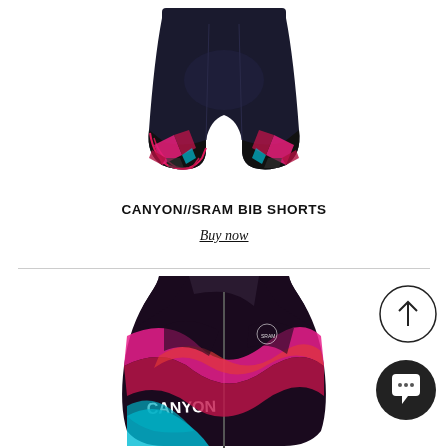[Figure (photo): Black cycling bib shorts with pink/magenta and teal geometric pattern at the cuffs, viewed from the front]
CANYON//SRAM BIB SHORTS
Buy now
[Figure (photo): Canyon//SRAM cycling vest with vibrant pink, magenta, red, and teal geometric wave pattern, front view showing collar and CANYON branding]